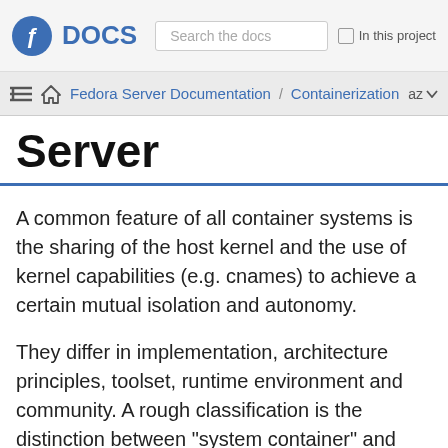DOCS | Search the docs | In this project
Fedora Server Documentation / Containerization  az
Server
A common feature of all container systems is the sharing of the host kernel and the use of kernel capabilities (e.g. cnames) to achieve a certain mutual isolation and autonomy.
They differ in implementation, architecture principles, toolset, runtime environment and community. A rough classification is the distinction between "system container" and "application container", roughly determined by the existence and scope of an init system.